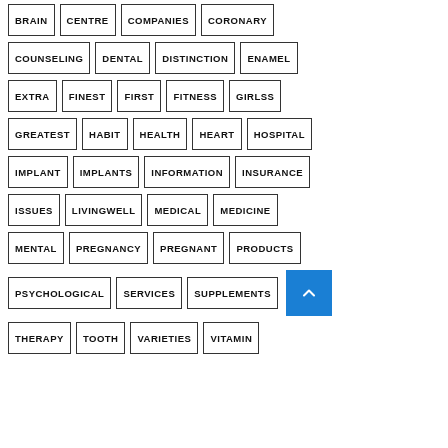BRAIN
CENTRE
COMPANIES
CORONARY
COUNSELING
DENTAL
DISTINCTION
ENAMEL
EXTRA
FINEST
FIRST
FITNESS
GIRLSS
GREATEST
HABIT
HEALTH
HEART
HOSPITAL
IMPLANT
IMPLANTS
INFORMATION
INSURANCE
ISSUES
LIVINGWELL
MEDICAL
MEDICINE
MENTAL
PREGNANCY
PREGNANT
PRODUCTS
PSYCHOLOGICAL
SERVICES
SUPPLEMENTS
THERAPY
TOOTH
VARIETIES
VITAMIN